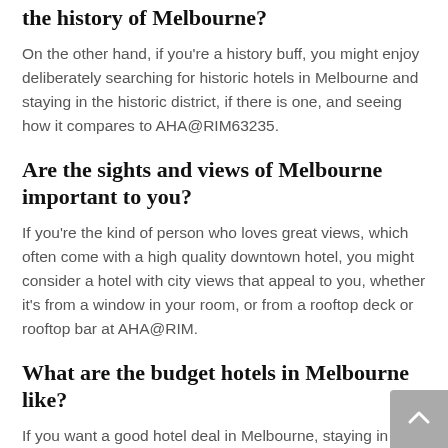the history of Melbourne?
On the other hand, if you're a history buff, you might enjoy deliberately searching for historic hotels in Melbourne and staying in the historic district, if there is one, and seeing how it compares to AHA@RIM63235.
Are the sights and views of Melbourne important to you?
If you're the kind of person who loves great views, which often come with a high quality downtown hotel, you might consider a hotel with city views that appeal to you, whether it's from a window in your room, or from a rooftop deck or rooftop bar at AHA@RIM.
What are the budget hotels in Melbourne like?
If you want a good hotel deal in Melbourne, staying in a budget hotel might be your best option, and you can